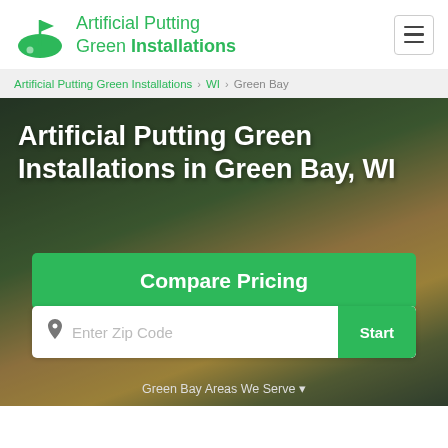Artificial Putting Green Installations
Artificial Putting Green Installations › WI › Green Bay
Artificial Putting Green Installations in Green Bay, WI
Compare Pricing
Enter Zip Code  Start
Green Bay Areas We Serve ▼